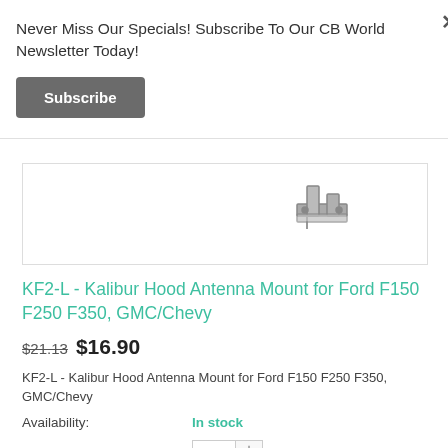Never Miss Our Specials! Subscribe To Our CB World Newsletter Today!
Subscribe
[Figure (photo): Partial view of a metal hood antenna mount bracket for trucks]
KF2-L - Kalibur Hood Antenna Mount for Ford F150 F250 F350, GMC/Chevy
$21.13 $16.90
KF2-L - Kalibur Hood Antenna Mount for Ford F150 F250 F350, GMC/Chevy
Availability: In stock
Quantity: 1